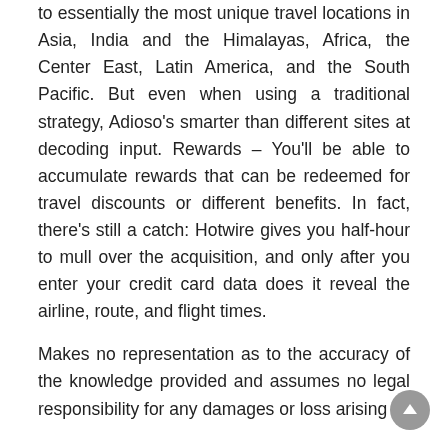to essentially the most unique travel locations in Asia, India and the Himalayas, Africa, the Center East, Latin America, and the South Pacific. But even when using a traditional strategy, Adioso's smarter than different sites at decoding input. Rewards – You'll be able to accumulate rewards that can be redeemed for travel discounts or different benefits. In fact, there's still a catch: Hotwire gives you half-hour to mull over the acquisition, and only after you enter your credit card data does it reveal the airline, route, and flight times.
Makes no representation as to the accuracy of the knowledge provided and assumes no legal responsibility for any damages or loss arising